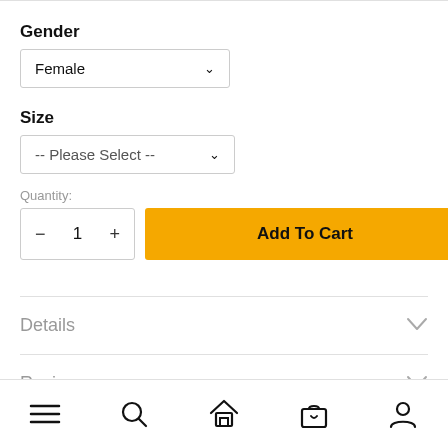Gender
Female
Size
-- Please Select --
Quantity: 1
Add To Cart
Details
Reviews
[Figure (other): Bottom navigation bar with menu, search, home, cart, and profile icons]